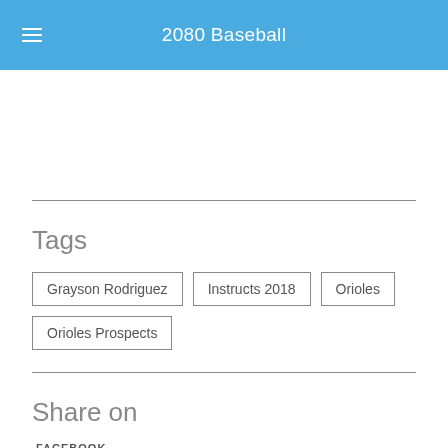2080 Baseball
Tags
Grayson Rodriguez
Instructs 2018
Orioles
Orioles Prospects
Share on
FACEBOOK